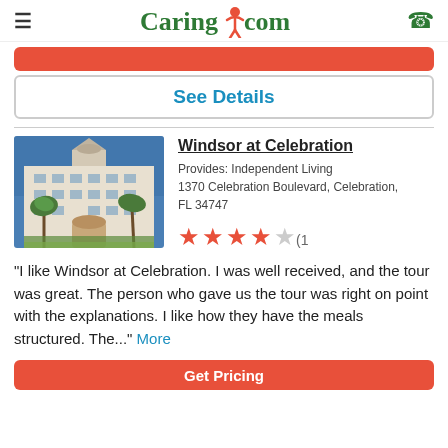Caring.com
[Figure (screenshot): Partially visible orange button at top]
See Details
[Figure (photo): Photo of Windsor at Celebration building exterior — large resort-style building with palm trees]
Windsor at Celebration
Provides: Independent Living
1370 Celebration Boulevard, Celebration, FL 34747
[Figure (other): 4 filled stars and 1 empty star rating with (10) reviews]
"I like Windsor at Celebration. I was well received, and the tour was great. The person who gave us the tour was right on point with the explanations. I like how they have the meals structured. The..." More
Get Pricing